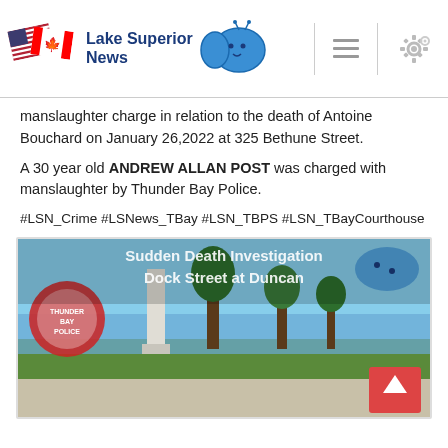Lake Superior News
manslaughter charge in relation to the death of Antoine Bouchard on January 26,2022 at 325 Bethune Street.
A 30 year old ANDREW ALLAN POST was charged with manslaughter by Thunder Bay Police.
#LSN_Crime #LSNews_TBay #LSN_TBPS #LSN_TBayCourthouse
[Figure (photo): Outdoor scene showing a park/waterfront area with text overlay reading 'Sudden Death Investigation Dock Street at Duncan'. Shows a monument/pillar, trees, lake/water in background, and a police badge logo on the left. Red back-to-top button in lower right corner.]